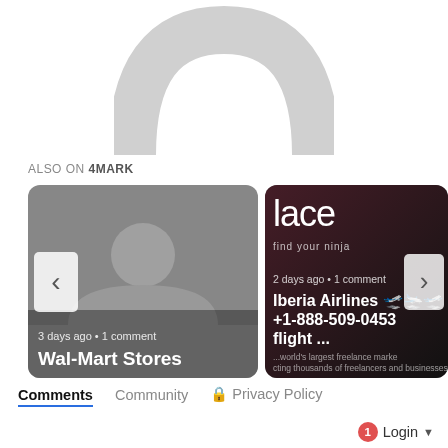[Figure (logo): 4MARK website logo - arch/rainbow shape in light gray at top center]
ALSO ON 4MARK
[Figure (screenshot): Left card: gray placeholder image with user silhouette. Text: '3 days ago • 1 comment', 'Wal-Mart Stores'. Left navigation arrow visible.]
[Figure (screenshot): Right card: dark background with 'lace find your ninja' branding overlay. Text: '2 days ago • 1 comment', 'Iberia Airlines 🛫🛬🛫 +1-888-509-0453 flight...', 'world's largest freelance market connecting thousands of freelancers and businesses'. Right navigation arrow visible.]
Comments  Community  🔒 Privacy Policy
1  Login ▾